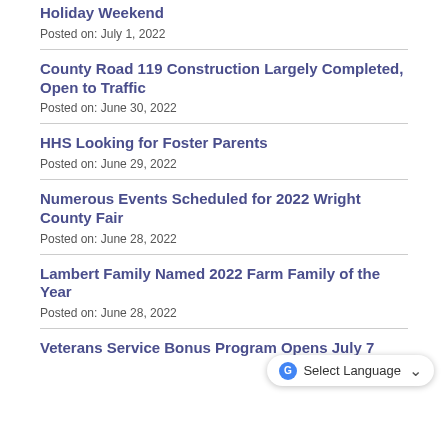Holiday Weekend
Posted on: July 1, 2022
County Road 119 Construction Largely Completed, Open to Traffic
Posted on: June 30, 2022
HHS Looking for Foster Parents
Posted on: June 29, 2022
Numerous Events Scheduled for 2022 Wright County Fair
Posted on: June 28, 2022
Lambert Family Named 2022 Farm Family of the Year
Posted on: June 28, 2022
Veterans Service Bonus Program Opens July 7